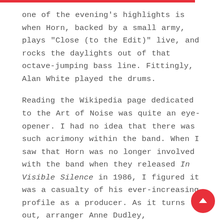one of the evening's highlights is when Horn, backed by a small army, plays "Close (to the Edit)" live, and rocks the daylights out of that octave-jumping bass line. Fittingly, Alan White played the drums.
Reading the Wikipedia page dedicated to the Art of Noise was quite an eye-opener. I had no idea that there was such acrimony within the band. When I saw that Horn was no longer involved with the band when they released In Visible Silence in 1986, I figured it was a casualty of his ever-increasing profile as a producer. As it turns out, arranger Anne Dudley, keyboardist J.J. Jeczalik and engineer Gary Langan did not like the direction Horn and Paul Morley wanted to take the band – plus Jeczalik thought Morley's writing was pretentious so they split from Horn and ZTT Records and went their